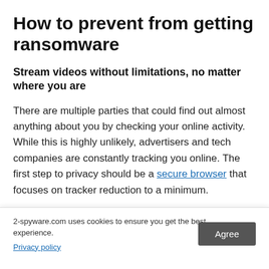How to prevent from getting ransomware
Stream videos without limitations, no matter where you are
There are multiple parties that could find out almost anything about you by checking your online activity. While this is highly unlikely, advertisers and tech companies are constantly tracking you online. The first step to privacy should be a secure browser that focuses on tracker reduction to a minimum.
Even if you employ a secure browser, you will not be able to [local government] [may not be able] [me countries. To
2-spyware.com uses cookies to ensure you get the best experience.
Privacy policy
Agree